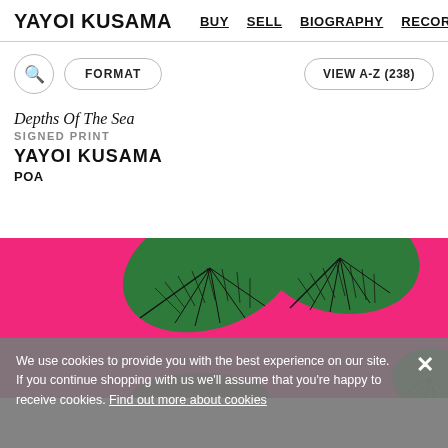YAYOI KUSAMA  BUY  SELL  BIOGRAPHY  RECORD
FORMAT  VIEW A-Z (238)
Depths Of The Sea
SIGNED PRINT
YAYOI KUSAMA
POA
[Figure (illustration): Artwork image showing green leaf-like forms with dark vein patterns on a hot pink/magenta background, cropped at top of view]
We use cookies to provide you with the best experience on our site. If you continue shopping with us we'll assume that you're happy to receive cookies. Find out more about cookies